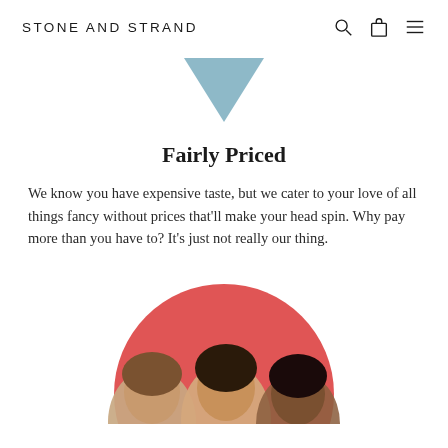STONE AND STRAND
[Figure (illustration): A blue-grey downward-pointing triangle shape centered near the top of the page.]
Fairly Priced
We know you have expensive taste, but we cater to your love of all things fancy without prices that'll make your head spin. Why pay more than you have to? It's just not really our thing.
[Figure (photo): Three women smiling, cropped inside a large red/coral circle. Only heads and shoulders visible, cut off at bottom of page.]